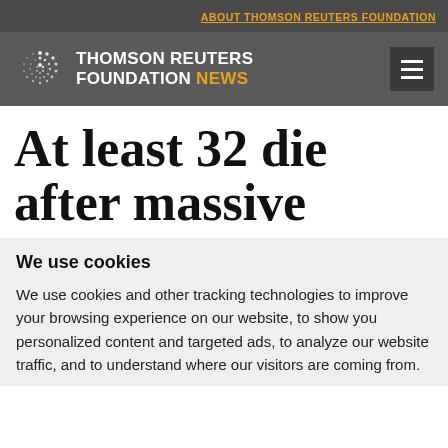ABOUT THOMSON REUTERS FOUNDATION
[Figure (logo): Thomson Reuters Foundation News logo with spiral dot pattern and text]
At least 32 die after massive
We use cookies
We use cookies and other tracking technologies to improve your browsing experience on our website, to show you personalized content and targeted ads, to analyze our website traffic, and to understand where our visitors are coming from.